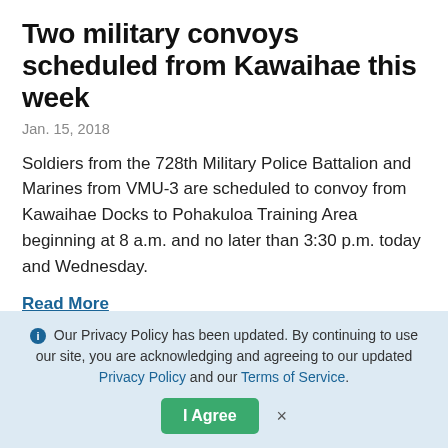Two military convoys scheduled from Kawaihae this week
Jan. 15, 2018
Soldiers from the 728th Military Police Battalion and Marines from VMU-3 are scheduled to convoy from Kawaihae Docks to Pohakuloa Training Area beginning at 8 a.m. and no later than 3:30 p.m. today and Wednesday.
Read More
Windstreamer event coming to Thelma Parker Library
ℹ Our Privacy Policy has been updated. By continuing to use our site, you are acknowledging and agreeing to our updated Privacy Policy and our Terms of Service. [I Agree] ×